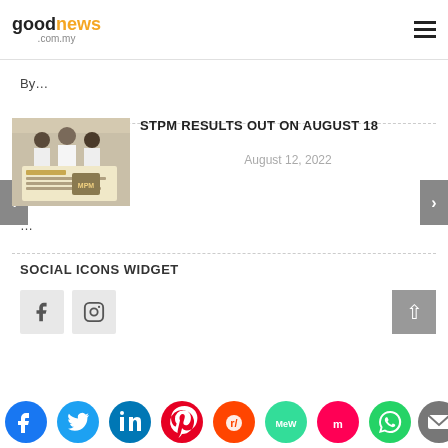goodnews .com.my
By...
[Figure (photo): Students in white uniforms looking at exam results documents with official logos]
STPM RESULTS OUT ON AUGUST 18
August 12, 2022
...
SOCIAL ICONS WIDGET
[Figure (illustration): Facebook and Instagram social icon boxes]
[Figure (illustration): Share bar with Facebook, Twitter, LinkedIn, Pinterest, Reddit, MeWe, Mix, WhatsApp, Email, Share icons]